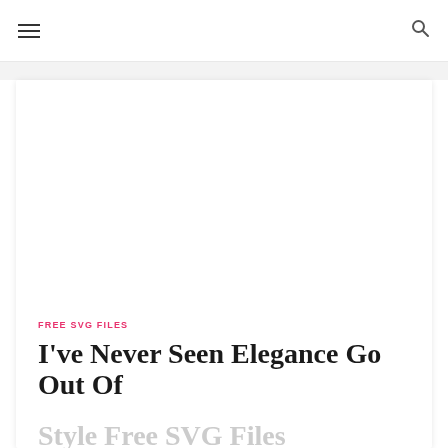≡  🔍
[Figure (illustration): White blank image placeholder inside a card]
FREE SVG FILES
I've Never Seen Elegance Go Out Of Style Free SVG Files
POSTED ON DECEMBER 12, 2020 BY WORLD OF PRINTABLES